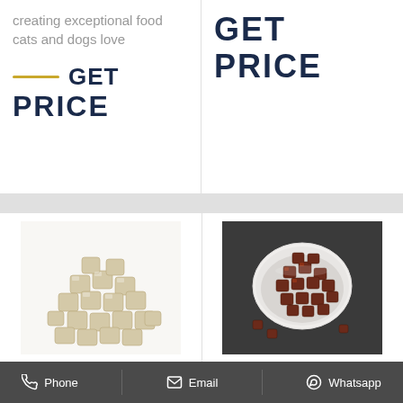creating exceptional food cats and dogs love
GET
PRICE
GET
PRICE
[Figure (photo): Pile of light-colored square freeze-dried pet food pieces on white background]
[Figure (photo): Dark reddish-brown square pet food pieces in a white bowl on dark grey background]
Phone
Email
Whatsapp